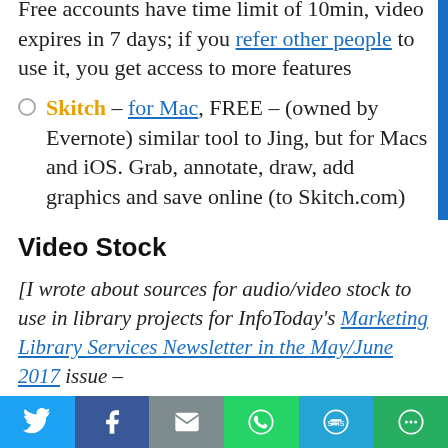Free accounts have time limit of 10min, video expires in 7 days; if you refer other people to use it, you get access to more features
Skitch – for Mac, FREE – (owned by Evernote) similar tool to Jing, but for Macs and iOS. Grab, annotate, draw, add graphics and save online (to Skitch.com)
Video Stock
[I wrote about sources for audio/video stock to use in library projects for InfoToday's Marketing Library Services Newsletter in the May/June 2017 issue –